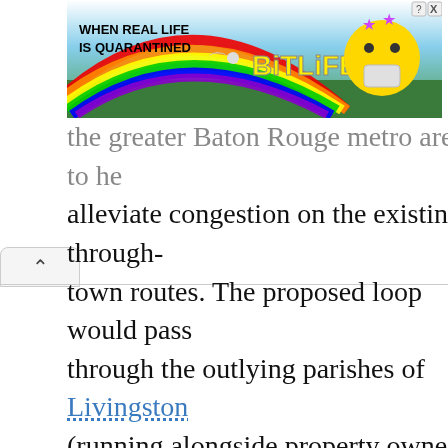[Figure (screenshot): BitLife advertisement banner with rainbow background, text 'WHEN REAL LIFE IS QUARANTINED' and 'BitLife' logo with cartoon character]
the greater Baton Rouge metro area to he alleviate congestion on the existing through-town routes. The proposed loop would pass through the outlying parishes of Livingston (running alongside property owned and marketed as an industrial development by Al Coburn, a member of President Mike Grimmer's staff), Ascension, West Baton Rouge, and Iberville, as well as northern East Baton Rouge Parish. This proposal has been